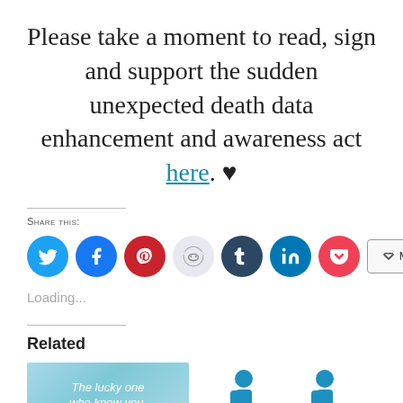Please take a moment to read, sign and support the sudden unexpected death data enhancement and awareness act here. ♥
Share this:
[Figure (infographic): Social sharing icon buttons: Twitter (blue circle), Facebook (blue circle), Pinterest (red circle), Reddit (light grey circle), Tumblr (dark navy circle), LinkedIn (blue circle), Pocket (red circle), and a More button]
Loading...
Related
[Figure (photo): Thumbnail image with light blue background and cursive text reading 'the lucky one who knew you. Who carried you']
[Figure (illustration): Illustration of two adult figures and a child/star figure in blue silhouette]